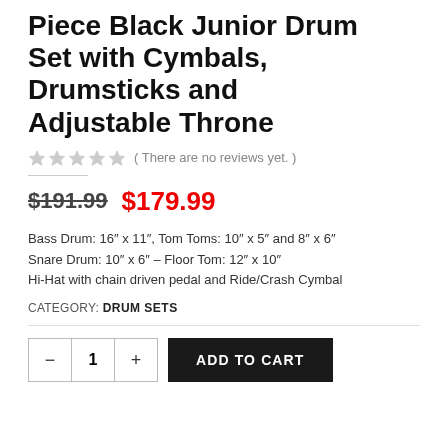Piece Black Junior Drum Set with Cymbals, Drumsticks and Adjustable Throne
( There are no reviews yet. )
$191.99  $179.99
Bass Drum: 16″ x 11″, Tom Toms: 10″ x 5″ and 8″ x 6″
Snare Drum: 10″ x 6″ – Floor Tom: 12″ x 10″
Hi-Hat with chain driven pedal and Ride/Crash Cymbal
CATEGORY: DRUM SETS